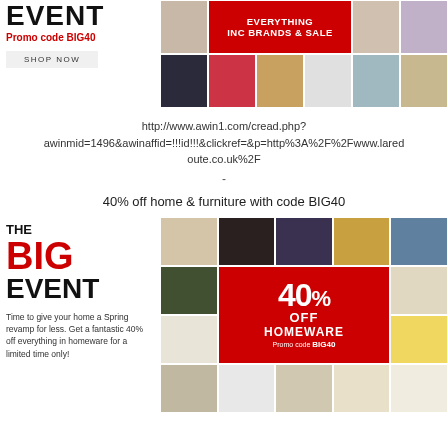[Figure (advertisement): Top left: THE BIG EVENT fashion banner with promo code BIG40 and SHOP NOW button]
[Figure (advertisement): Top right: Fashion clothing grid with EVERYTHING INC BRANDS & SALE red banner]
http://www.awin1.com/cread.php?awinmid=1496&awinaffid=!!!id!!!&clickref=&p=http%3A%2F%2Fwww.laredoute.co.uk%2F
-
40% off home & furniture with code BIG40
[Figure (advertisement): Bottom left: THE BIG EVENT homeware promotion. Time to give your home a Spring revamp for less. Get a fantastic 40% off everything in homeware for a limited time only!]
[Figure (advertisement): Bottom right: Homeware product grid with 40% OFF HOMEWARE Promo code BIG40 red banner in center]